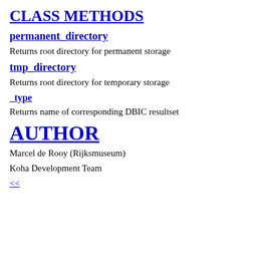CLASS METHODS
permanent_directory
Returns root directory for permanent storage
tmp_directory
Returns root directory for temporary storage
_type
Returns name of corresponding DBIC resultset
AUTHOR
Marcel de Rooy (Rijksmuseum)
Koha Development Team
<<